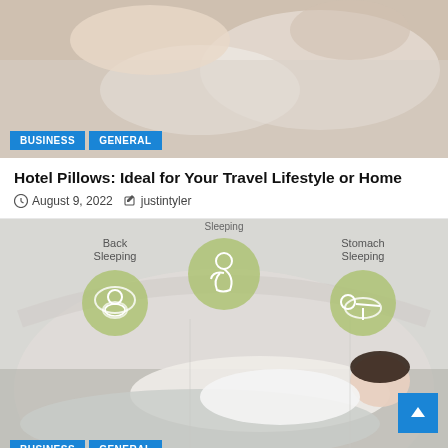[Figure (photo): Person lying with hotel pillows, photo with BUSINESS and GENERAL tag overlays]
Hotel Pillows: Ideal for Your Travel Lifestyle or Home
August 9, 2022  justintyler
[Figure (infographic): Infographic showing sleeping positions (Back Sleeping, Side Sleeping, Stomach Sleeping) with green circle icons over a photo of a woman sleeping on a body pillow. BUSINESS and GENERAL tags at bottom.]
The Best Body Pillow For All Your Sleeping Posture